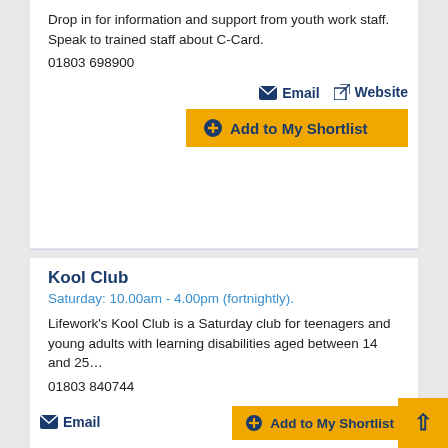Drop in for information and support from youth work staff.  Speak to trained staff about C-Card.
01803 698900
Email
Website
Add to My Shortlist
Kool Club
Saturday: 10.00am - 4.00pm (fortnightly).
Lifework's Kool Club is a Saturday club for teenagers and young adults with learning disabilities aged between 14 and 25…
01803 840744
Email
Add to My Shortlist